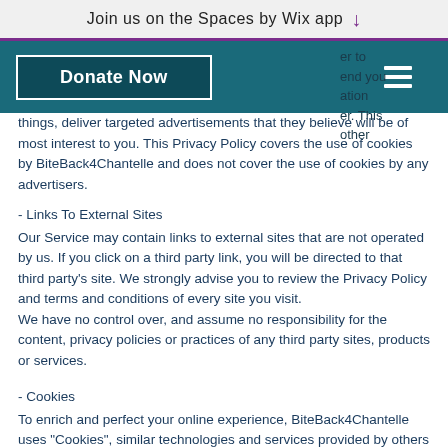Join us on the Spaces by Wix app ↓
things, deliver targeted advertisements that they believe will be of most interest to you. This Privacy Policy covers the use of cookies by BiteBack4Chantelle and does not cover the use of cookies by any advertisers.
- Links To External Sites
Our Service may contain links to external sites that are not operated by us. If you click on a third party link, you will be directed to that third party's site. We strongly advise you to review the Privacy Policy and terms and conditions of every site you visit.
We have no control over, and assume no responsibility for the content, privacy policies or practices of any third party sites, products or services.
- Cookies
To enrich and perfect your online experience, BiteBack4Chantelle uses "Cookies", similar technologies and services provided by others to